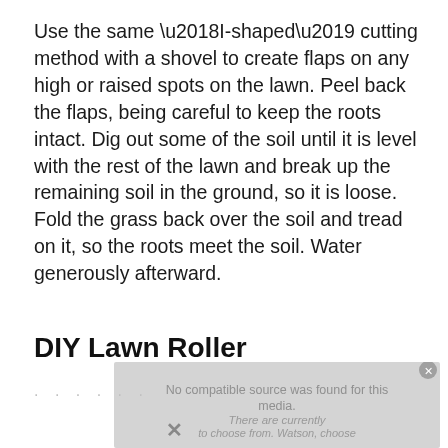Use the same ‘I-shaped’ cutting method with a shovel to create flaps on any high or raised spots on the lawn. Peel back the flaps, being careful to keep the roots intact. Dig out some of the soil until it is level with the rest of the lawn and break up the remaining soil in the ground, so it is loose. Fold the grass back over the soil and tread on it, so the roots meet the soil. Water generously afterward.
DIY Lawn Roller
[Figure (other): Video player overlay showing 'No compatible source was found for this media.' error message with dots and an X button]